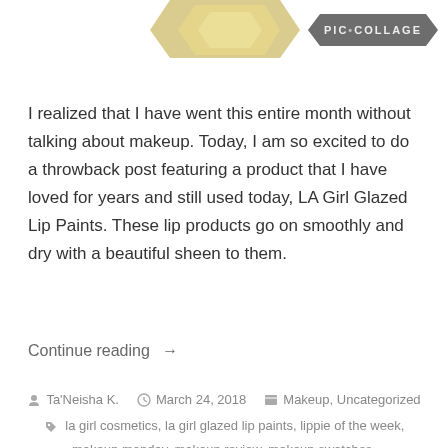[Figure (illustration): Partial gold/yellow decorative shape at the top center of the page, partially cropped]
[Figure (logo): PIC•COLLAGE badge/logo in dark gray hexagonal banner shape, top right corner]
I realized that I have went this entire month without talking about makeup. Today, I am so excited to do a throwback post featuring a product that I have loved for years and still used today, LA Girl Glazed Lip Paints. These lip products go on smoothly and dry with a beautiful sheen to them.
Continue reading →
Ta'Neisha K.  March 24, 2018  Makeup, Uncategorized  la girl cosmetics, la girl glazed lip paints, lippie of the week, makeup monday, makeup review, makeup swatches, throwback thursday  Leave a comment